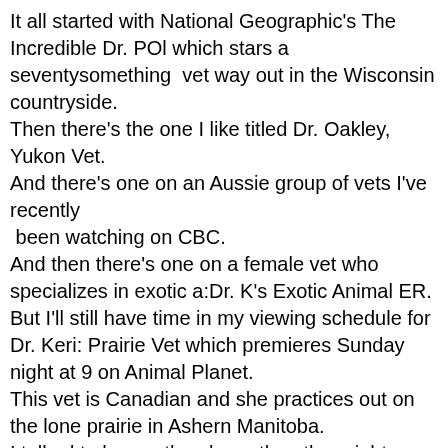It all started with National Geographic's The Incredible Dr. POl which stars a seventysomething  vet way out in the Wisconsin countryside.
Then there's the one I like titled Dr. Oakley, Yukon Vet.
And there's one on an Aussie group of vets I've recently  been watching on CBC.
And then there's one on a female vet who specializes in exotic a:Dr. K's Exotic Animal ER.
But I'll still have time in my viewing schedule for Dr. Keri: Prairie Vet which premieres Sunday night at 9 on Animal Planet.
This vet is Canadian and she practices out on the lone prairie in Ashern Manitoba.
I talked to her on the phone the other night --she rang in after a typically hectic day and she's not at all sure she wants to be a TV star.
But she has the personality and the way she carefully explains each procedure makes the show highly watchable. She also seems to care about each and every patient and that's highly important.
These kind of shows can't be set up in advance --we first see Dr. Keri answering the phone at 3:30 a.m. as a distraught